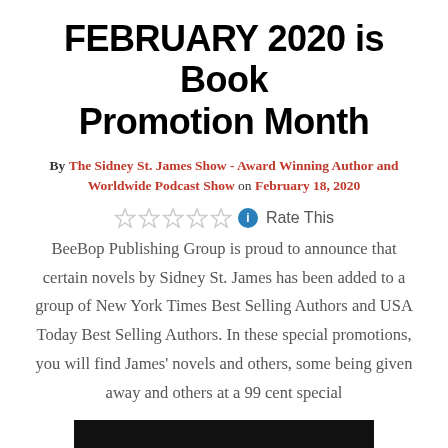FEBRUARY 2020 is Book Promotion Month
By The Sidney St. James Show - Award Winning Author and Worldwide Podcast Show on February 18, 2020
[Figure (other): Five empty star rating icons followed by a blue info circle icon and the text 'Rate This']
BeeBop Publishing Group is proud to announce that certain novels by Sidney St. James has been added to a group of New York Times Best Selling Authors and USA Today Best Selling Authors. In these special promotions, you will find James' novels and others, some being given away and others at a 99 cent special
[Figure (other): Black rectangular bar at the bottom of the page]